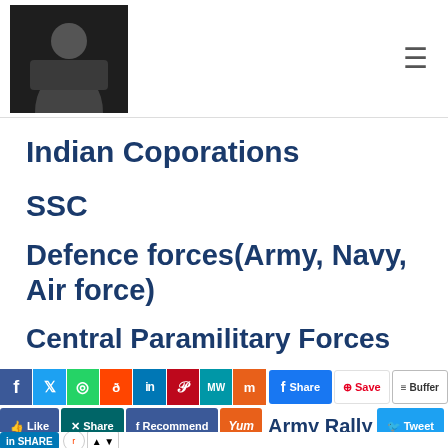[Figure (photo): Person in suit logo/avatar image for Indian Coporations website, dark background]
Indian Coporations ☰
SSC
Defence forces(Army, Navy, Air force)
Central Paramilitary Forces
[Figure (screenshot): Social media sharing buttons bar: Facebook, Twitter, WhatsApp, Reddit, LinkedIn, Pinterest, MeWe, Mix, Save, Buffer, Share, Like, Share, Recommend, Yum, Tweet, Share, Army Rally text]